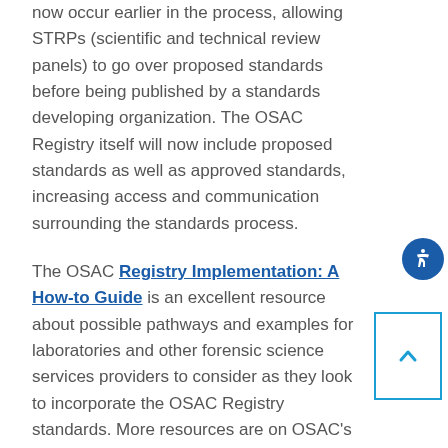now occur earlier in the process, allowing STRPs (scientific and technical review panels) to go over proposed standards before being published by a standards developing organization. The OSAC Registry itself will now include proposed standards as well as approved standards, increasing access and communication surrounding the standards process.
The OSAC Registry Implementation: A How-to Guide is an excellent resource about possible pathways and examples for laboratories and other forensic science services providers to consider as they look to incorporate the OSAC Registry standards. More resources are on OSAC's Registry Implementation webpage.
CSAFE encourages the use of OSAC resources and